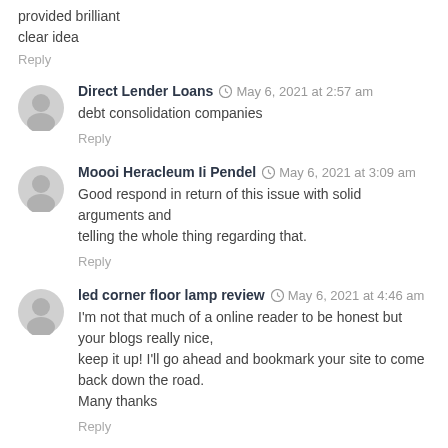provided brilliant
clear idea
Reply
Direct Lender Loans  May 6, 2021 at 2:57 am
debt consolidation companies
Reply
Moooi Heracleum Ii Pendel  May 6, 2021 at 3:09 am
Good respond in return of this issue with solid arguments and
telling the whole thing regarding that.
Reply
led corner floor lamp review  May 6, 2021 at 4:46 am
I'm not that much of a online reader to be honest but your blogs really nice,
keep it up! I'll go ahead and bookmark your site to come back down the road.
Many thanks
Reply